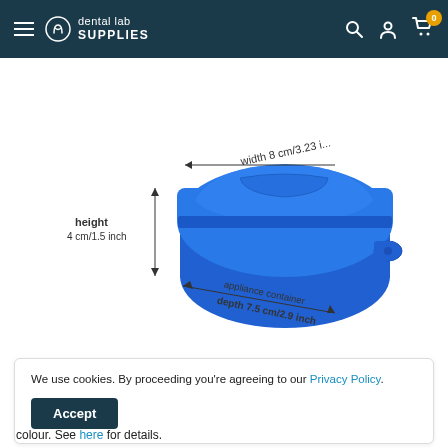dental lab SUPPLIES — navigation header with hamburger menu, search, account, cart icons
[Figure (photo): Blue plastic dental appliance container box with dimension annotations: width 8 cm/3.23 inch, height 4 cm/1.5 inch, appliance container depth 7.5 cm/2.9 inch]
We use cookies. By proceeding you're agreeing to our Privacy Policy.
Accept
colour. See here for details.